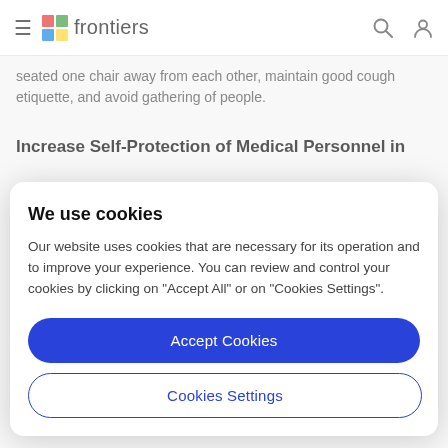frontiers
seated one chair away from each other, maintain good cough etiquette, and avoid gathering of people.
Increase Self-Protection of Medical Personnel in
We use cookies
Our website uses cookies that are necessary for its operation and to improve your experience. You can review and control your cookies by clicking on "Accept All" or on "Cookies Settings".
Accept Cookies
Cookies Settings